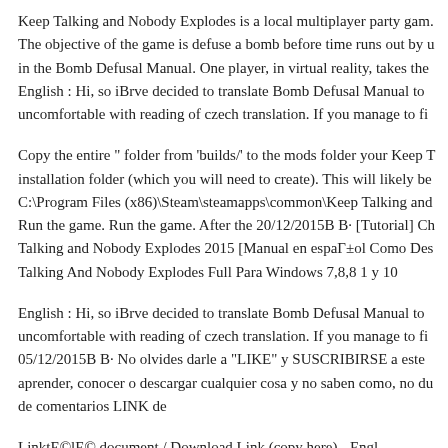Keep Talking and Nobody Explodes is a local multiplayer party gam. The objective of the game is defuse a bomb before time runs out by u in the Bomb Defusal Manual. One player, in virtual reality, takes the English : Hi, so iBrve decided to translate Bomb Defusal Manual to uncomfortable with reading of czech translation. If you manage to fi
Copy the entire " folder from 'builds/' to the mods folder your Keep T installation folder (which you will need to create). This will likely be C:\Program Files (x86)\Steam\steamapps\common\Keep Talking and Run the game. Run the game. After the 20/12/2015B B· [Tutorial] Ch Talking and Nobody Explodes 2015 [Manual en espaГ±ol Como Des Talking And Nobody Explodes Full Para Windows 7,8,8 1 y 10
English : Hi, so iBrve decided to translate Bomb Defusal Manual to uncomfortable with reading of czech translation. If you manage to fi 05/12/2015B B· No olvides darle a "LIKE" y SUSCRIBIRSE a este aprender, conocer o descargar cualquier cosa y no saben como, no du de comentarios LINK de
LinktE©lE© document / Download Link (copy here) - Engl